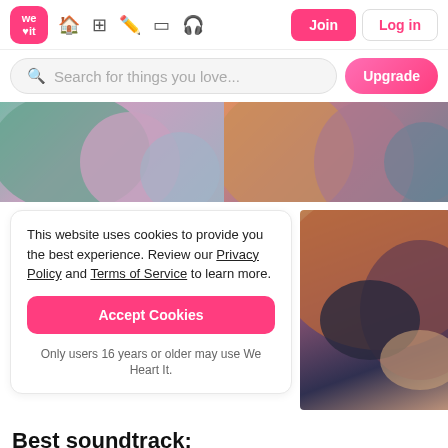we heart it — navigation bar with Join and Log in buttons
Search for things you love...
[Figure (photo): Two blurry images side by side: left shows a couple embracing, right shows an animated couple hugging]
This website uses cookies to provide you the best experience. Review our Privacy Policy and Terms of Service to learn more.

Accept Cookies

Only users 16 years or older may use We Heart It.
[Figure (photo): Animated movie still showing two characters in a romantic embrace, warm orange tones]
Best soundtrack: